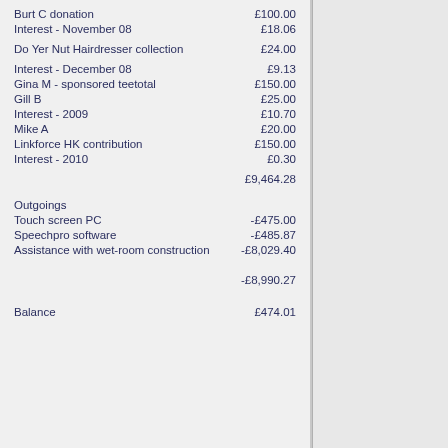| Description | Amount |
| --- | --- |
| Burt C donation | £100.00 |
| Interest - November 08 | £18.06 |
| Do Yer Nut Hairdresser collection | £24.00 |
| Interest - December 08 | £9.13 |
| Gina M - sponsored teetotal | £150.00 |
| Gill B | £25.00 |
| Interest - 2009 | £10.70 |
| Mike A | £20.00 |
| Linkforce HK contribution | £150.00 |
| Interest - 2010 | £0.30 |
|  | £9,464.28 |
| Outgoings |  |
| Touch screen PC | -£475.00 |
| Speechpro software | -£485.87 |
| Assistance with wet-room construction | -£8,029.40 |
|  | -£8,990.27 |
| Balance | £474.01 |